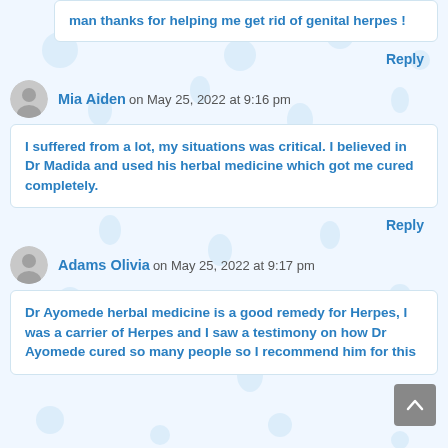man thanks for helping me get rid of genital herpes !
Reply
Mia Aiden on May 25, 2022 at 9:16 pm
I suffered from a lot, my situations was critical. I believed in Dr Madida and used his herbal medicine which got me cured completely.
Reply
Adams Olivia on May 25, 2022 at 9:17 pm
Dr Ayomede herbal medicine is a good remedy for Herpes, I was a carrier of Herpes and I saw a testimony on how Dr Ayomede cured so many people so I recommend him for this